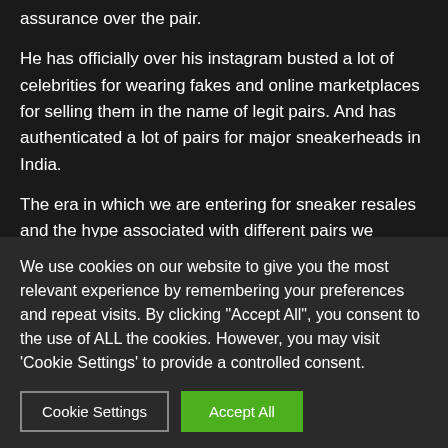assurance over the pair.
He has officially over his instagram busted a lot of celebrities for wearing fakes and online marketplaces for selling them in the name of legit pairs. And has authenticated a lot of pairs for major sneakerheads in India.
The era in which we are entering for sneaker resales and the hype associated with different pairs we definitely believe that this is one thing that we all as sneakerheads should do. Get our pairs Legit Checked specially when we are copping them off some resellers and not the trusted stores.
We use cookies on our website to give you the most relevant experience by remembering your preferences and repeat visits. By clicking "Accept All", you consent to the use of ALL the cookies. However, you may visit 'Cookie Settings' to provide a controlled consent.